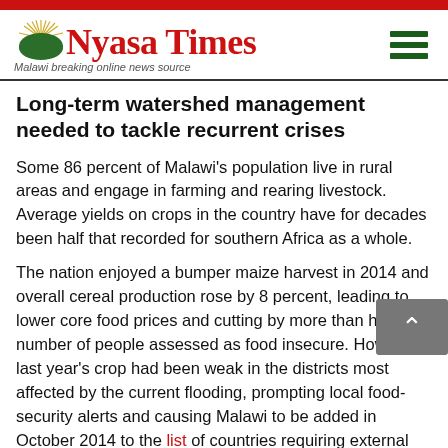Nyasa Times — Malawi breaking online news source
Long-term watershed management needed to tackle recurrent crises
Some 86 percent of Malawi's population live in rural areas and engage in farming and rearing livestock. Average yields on crops in the country have for decades been half that recorded for southern Africa as a whole.
The nation enjoyed a bumper maize harvest in 2014 and overall cereal production rose by 8 percent, leading to lower core food prices and cutting by more than half the number of people assessed as food insecure. However, last year's crop had been weak in the districts most affected by the current flooding, prompting local food-security alerts and causing Malawi to be added in October 2014 to the list of countries requiring external assistance